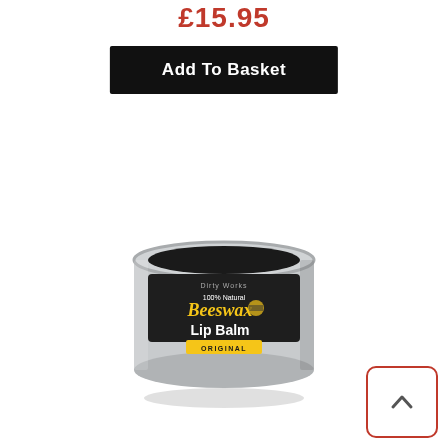£15.95
[Figure (other): Black 'Add To Basket' button]
[Figure (photo): Round tin of 100% Natural Beeswax Lip Balm Original by Dirty Works]
[Figure (other): Scroll-to-top button with upward chevron, red border]